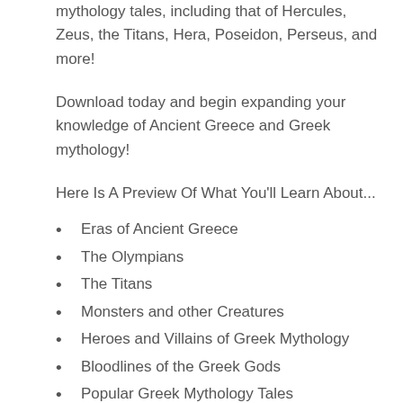mythology tales, including that of Hercules, Zeus, the Titans, Hera, Poseidon, Perseus, and more!
Download today and begin expanding your knowledge of Ancient Greece and Greek mythology!
Here Is A Preview Of What You'll Learn About...
Eras of Ancient Greece
The Olympians
The Titans
Monsters and other Creatures
Heroes and Villains of Greek Mythology
Bloodlines of the Greek Gods
Popular Greek Mythology Tales
Much, much more!